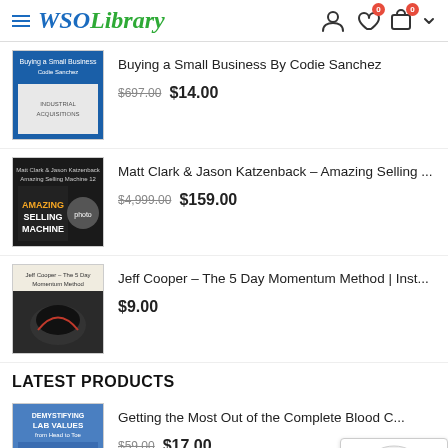WSOLibrary
[Figure (screenshot): Book thumbnail: Buying a Small Business By Codie Sanchez – blue cover with sketchy business graphics]
Buying a Small Business By Codie Sanchez
$697.00  $14.00
[Figure (screenshot): Course thumbnail: Matt Clark & Jason Katzenback Amazing Selling Machine 12 – dark cover with presenter photo]
Matt Clark & Jason Katzenback – Amazing Selling ...
$4,999.00  $159.00
[Figure (screenshot): Course thumbnail: Jeff Cooper – The 5 Day Momentum Method | Inst... – dark image with a bull]
Jeff Cooper – The 5 Day Momentum Method | Inst...
$9.00
LATEST PRODUCTS
[Figure (screenshot): Book thumbnail: Demystifying Lab Values from Head to Toe – Getting the Most Out of the Complete Blood Count]
Getting the Most Out of the Complete Blood C...
$59.00  $17.00